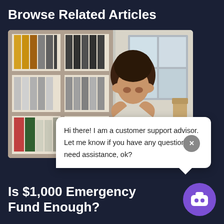Browse Related Articles
[Figure (photo): Woman sitting at a desk with bookshelves of binders behind her, holding her temples with both hands, looking stressed or in deep thought.]
Hi there! I am a customer support advisor. Let me know if you have any questions or need assistance, ok?
Is $1,000 Emergency Fund Enough?